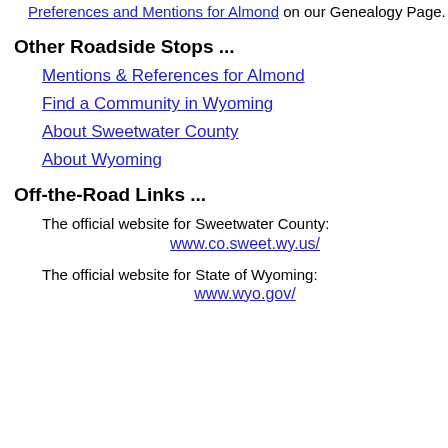Preferences and Mentions for Almond on our Genealogy Page.
Other Roadside Stops ...
Mentions & References for Almond
Find a Community in Wyoming
About Sweetwater County
About Wyoming
Off-the-Road Links ...
The official website for Sweetwater County:
www.co.sweet.wy.us/
The official website for State of Wyoming:
www.wyo.gov/